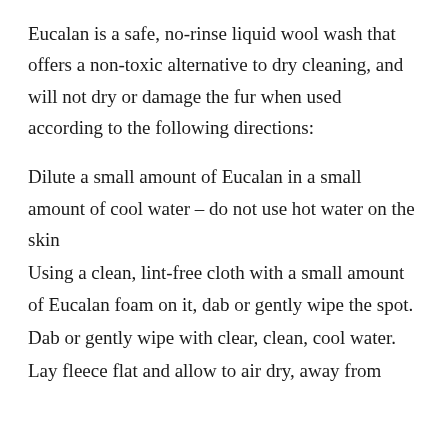Eucalan is a safe, no-rinse liquid wool wash that offers a non-toxic alternative to dry cleaning, and will not dry or damage the fur when used according to the following directions:
Dilute a small amount of Eucalan in a small amount of cool water – do not use hot water on the skin
Using a clean, lint-free cloth with a small amount of Eucalan foam on it, dab or gently wipe the spot.
Dab or gently wipe with clear, clean, cool water.
Lay fleece flat and allow to air dry, away from